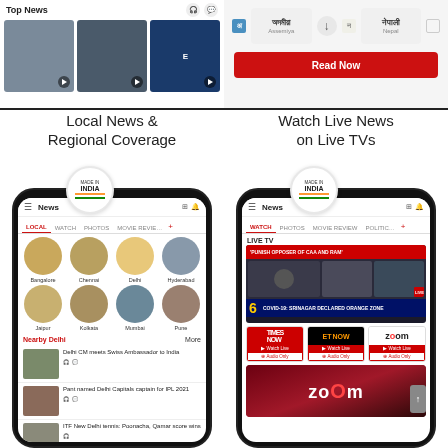[Figure (screenshot): Top row showing two mobile app screenshots: left shows Top News with video thumbnails, right shows language selection with Assamese and Nepali options and a red Read Now button]
Local News &
Regional Coverage
Watch Live News
on Live TVs
[Figure (screenshot): Mobile phone mockup showing local news app with city circles (Bangalore, Chennai, Delhi, Hyderabad, Jaipur, Kolkata, Mumbai, Pune), Nearby Delhi section, and news headlines including 'Delhi CM meets Swiss Ambassador to India', 'Pant named Delhi Capitals captain for IPL 2021', 'ITF New Delhi tennis: Poonacha, Qamar score wins']
[Figure (screenshot): Mobile phone mockup showing Live TV section with news broadcast, ticker showing COVID-19 news, channel logos for Times Now, ET Now, and Zoom, and Zoom channel banner]